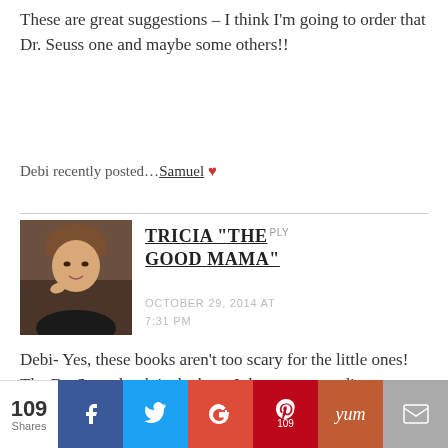These are great suggestions – I think I'm going to order that Dr. Seuss one and maybe some others!!
Debi recently posted…Samuel ♥
[Figure (photo): Profile photo of a woman smiling]
TRICIA "THE GOOD MAMA" REPLY
OCTOBER 29, 2014 AT 7:31 PM
Debi- Yes, these books aren't too scary for the little ones! The Dr. Seuss book is the best. It has a great ending.
[Figure (infographic): Social share bar with 109 Shares: Facebook, Twitter, Google+, Pinterest (109), Yummly, Email buttons]